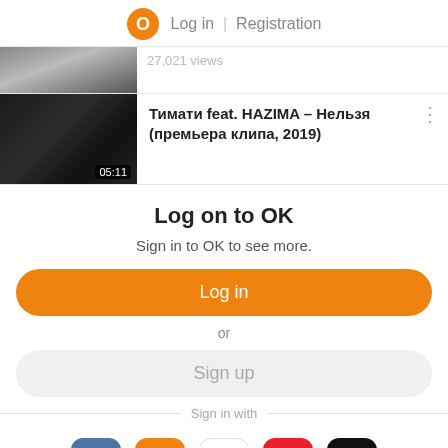Log in | Registration
[Figure (screenshot): Video thumbnail strip showing partial view with 27,021 views text]
[Figure (screenshot): Video thumbnail for Тимати feat. NAZIMA - Нельзя (премьера клипа, 2019), duration 05:11]
Log on to OK
Sign in to OK to see more.
Log in
or
Sign up
Sign in with
[Figure (infographic): Social login icons: VK, Mail, Google, Yandex, Apple]